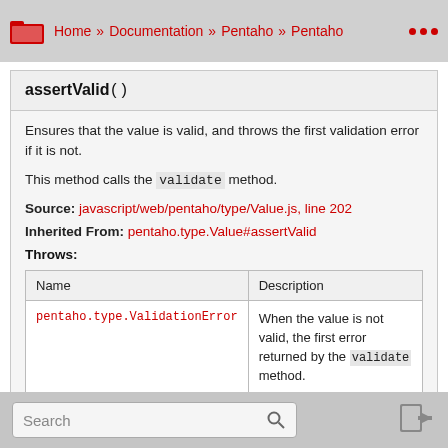Home » Documentation » Pentaho » Pentaho ...
assertValid()
Ensures that the value is valid, and throws the first validation error if it is not.
This method calls the validate method.
Source: javascript/web/pentaho/type/Value.js, line 202
Inherited From: pentaho.type.Value#assertValid
Throws:
| Name | Description |
| --- | --- |
| pentaho.type.ValidationError | When the value is not valid, the first error returned by the validate method. |
Search